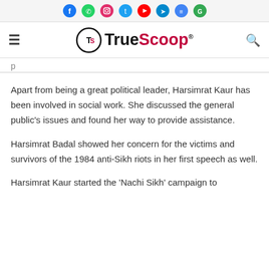Social media icons: Facebook, WhatsApp, Instagram, Twitter, YouTube, Telegram, Google News, Google
[Figure (logo): TrueScoop logo with hamburger menu and search icon]
Apart from being a great political leader, Harsimrat Kaur has been involved in social work. She discussed the general public's issues and found her way to provide assistance.
Harsimrat Badal showed her concern for the victims and survivors of the 1984 anti-Sikh riots in her first speech as well.
Harsimrat Kaur started the 'Nachi Sikh' campaign to...